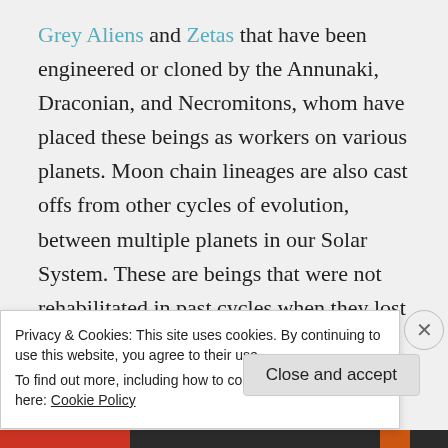Grey Aliens and Zetas that have been engineered or cloned by the Annunaki, Draconian, and Necromitons, whom have placed these beings as workers on various planets. Moon chain lineages are also cast offs from other cycles of evolution, between multiple planets in our Solar System. These are beings that were not rehabilitated in past cycles when they lost their capacity to incarnate as a human Soul. The Annunaki have shaped this planet for territorial domination in the
Privacy & Cookies: This site uses cookies. By continuing to use this website, you agree to their use.
To find out more, including how to control cookies, see here: Cookie Policy
Close and accept